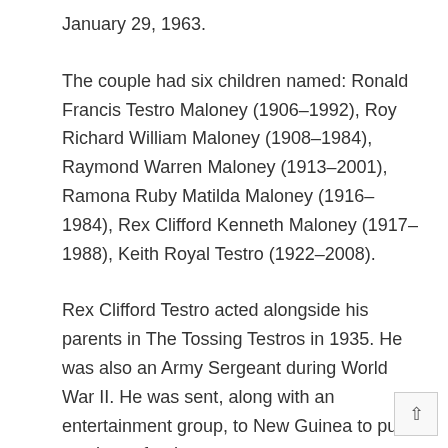January 29, 1963.
The couple had six children named: Ronald Francis Testro Maloney (1906–1992), Roy Richard William Maloney (1908–1984), Raymond Warren Maloney (1913–2001), Ramona Ruby Matilda Maloney (1916–1984), Rex Clifford Kenneth Maloney (1917–1988), Keith Royal Testro (1922–2008).
Rex Clifford Testro acted alongside his parents in The Tossing Testros in 1935. He was also an Army Sergeant during World War II. He was sent, along with an entertainment group, to New Guinea to put on shows for the troops.